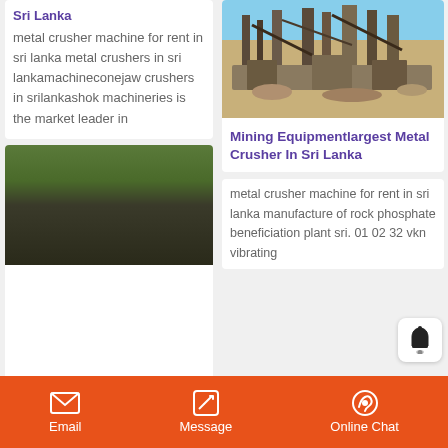metal crusher machine for rent in sri lanka metal crushers in sri lankamachineconejaw crushers in srilankashok machineries is the market leader in
[Figure (photo): Industrial mining/crushing equipment in an outdoor setting with blue sky]
Mining Equipmentlargest Metal Crusher In Sri Lanka
metal crusher machine for rent in sri lanka manufacture of rock phosphate beneficiation plant sri. 01 02 32 vkn vibrating
[Figure (photo): Mining/crushing equipment in a forested area]
Email   Message   Online Chat